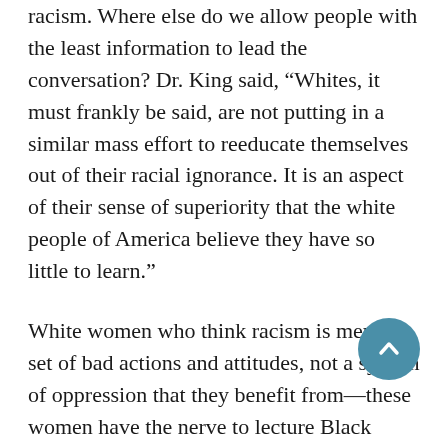racism. Where else do we allow people with the least information to lead the conversation? Dr. King said, “Whites, it must frankly be said, are not putting in a similar mass effort to reeducate themselves out of their racial ignorance. It is an aspect of their sense of superiority that the white people of America believe they have so little to learn.”
White women who think racism is merely a set of bad actions and attitudes, not a system of oppression that they benefit from—these women have the nerve to lecture Black women. Certainly, white feminists don’t let men lecture them on what is and isn’t sexist, or how they should pursue justice as it relates to sex and gender. And yet, white feminists feel entitled to